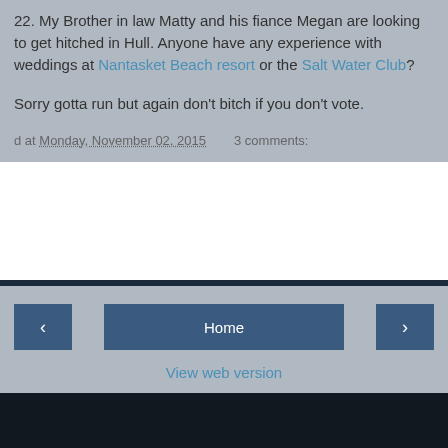22. My Brother in law Matty and his fiance Megan are looking to get hitched in Hull. Anyone have any experience with weddings at Nantasket Beach resort or the Salt Water Club?
Sorry gotta run but again don't bitch if you don't vote.
d at Monday, November 02, 2015   3 comments:
[Figure (screenshot): Navigation bar with left arrow button, Home button, right arrow button, and View web version link]